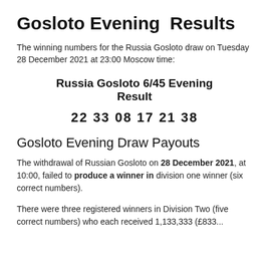Gosloto Evening Results
The winning numbers for the Russia Gosloto draw on Tuesday 28 December 2021 at 23:00 Moscow time:
Russia Gosloto 6/45 Evening Result
22 33 08 17 21 38
Gosloto Evening Draw Payouts
The withdrawal of Russian Gosloto on 28 December 2021, at 10:00, failed to produce a winner in division one winner (six correct numbers).
There were three registered winners in Division Two (five correct numbers) who each received 1,133,333 (£833...